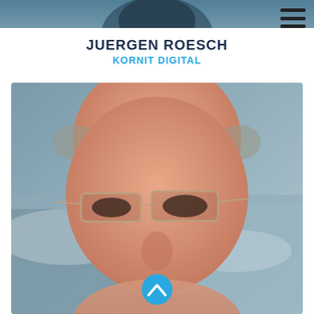[Figure (photo): Top portion of a photo showing a person — cropped to just the top of the head, used as a banner/header background.]
JUERGEN ROESCH
KORNIT DIGITAL
[Figure (photo): Close-up portrait photo of a middle-aged bald man with thin-framed rectangular glasses, smiling, with a waterfall or river in the blurred background.]